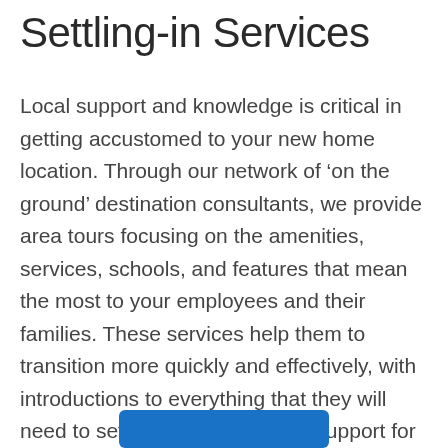Settling-in Services
Local support and knowledge is critical in getting accustomed to your new home location. Through our network of ‘on the ground’ destination consultants, we provide area tours focusing on the amenities, services, schools, and features that mean the most to your employees and their families. These services help them to transition more quickly and effectively, with introductions to everything that they will need to settle right in, including support for local licenses, permits, and social security appointments as needed.